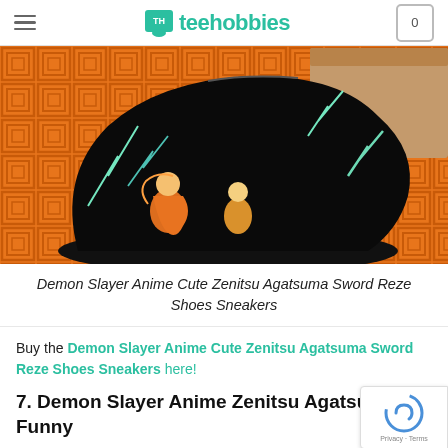teehobbies
[Figure (photo): Black sneaker with anime Demon Slayer Zenitsu Agatsuma character art and lightning design on orange patterned background]
Demon Slayer Anime Cute Zenitsu Agatsuma Sword Reze Shoes Sneakers
Buy the Demon Slayer Anime Cute Zenitsu Agatsuma Sword Reze Shoes Sneakers here!
7. Demon Slayer Anime Zenitsu Agatsuma Funny